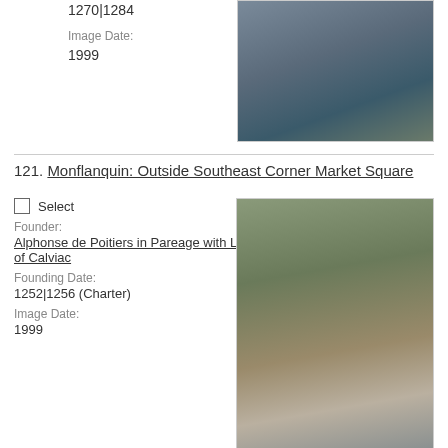1270|1284
Image Date:
1999
[Figure (photo): Outdoor street scene with a car parked and wet pavement]
121. Monflanquin: Outside Southeast Corner Market Square
Select
Founder:
Alphonse de Poitiers in Pareage with Lord of Calviac
Founding Date:
1252|1256 (Charter)
Image Date:
1999
[Figure (photo): Street view of a medieval market square corner with timber-framed building and stone arch]